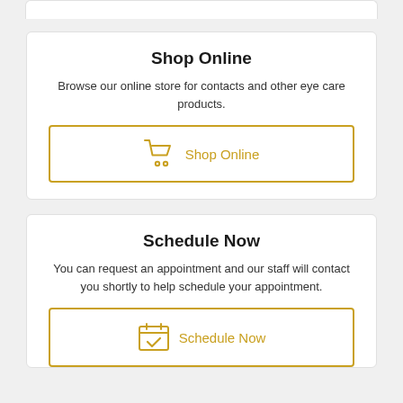Shop Online
Browse our online store for contacts and other eye care products.
[Figure (illustration): Shopping cart icon with 'Shop Online' button outlined in gold/yellow border]
Schedule Now
You can request an appointment and our staff will contact you shortly to help schedule your appointment.
[Figure (illustration): Calendar with checkmark icon and 'Schedule Now' button outlined in gold/yellow border]